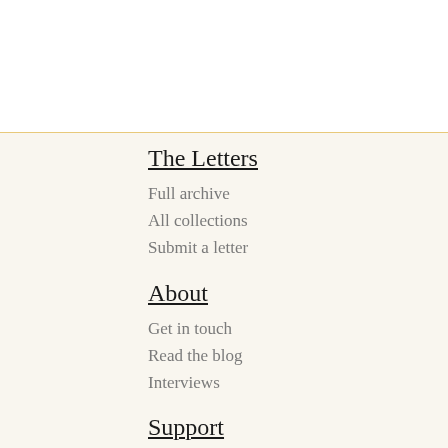The Letters
Full archive
All collections
Submit a letter
About
Get in touch
Read the blog
Interviews
Support
Write More Letters
Merch